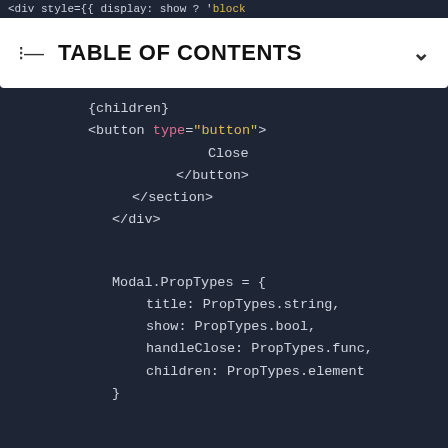[Figure (screenshot): Top strip showing partial code: <div style={{ display: show ? 'block']
TABLE OF CONTENTS
{children}
<button type="button" onClick={ha
    Close
</button>
</section>
</div>

Modal.PropTypes = {
  title: PropTypes.string,
  show: PropTypes.bool,
  handleClose: PropTypes.func,
  children: PropTypes.element
}